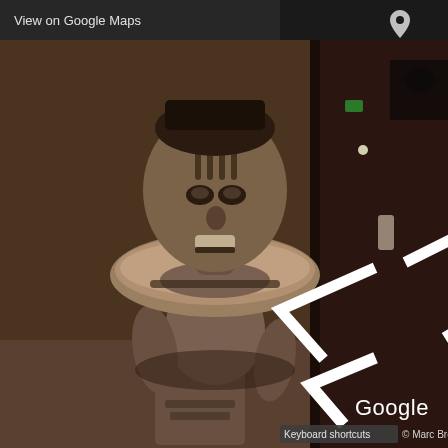View on Google Maps
[Figure (screenshot): Google Street View indoor panorama showing an African tribal wooden sculpture/statue displayed in a museum. The figure has a decorated face with markings, wearing a wide disc-shaped collar/ruff, standing upright. The background shows a dark wooden panel/wall and museum lighting. White navigation arrows (left and right chevrons) are overlaid on the image. Bottom overlay shows 'Google' label, 'Keyboard shortcuts' button, and '© Marc Bretzfeld' copyright text.]